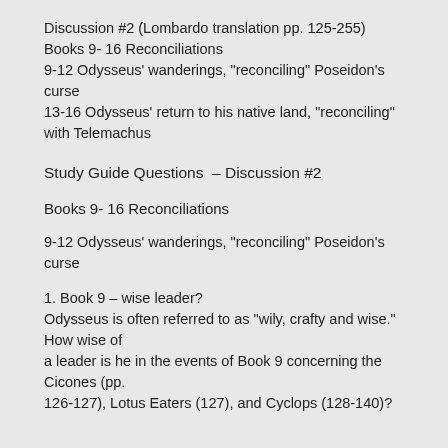Discussion #2 (Lombardo translation pp. 125-255) Books 9- 16 Reconciliations 9-12 Odysseus' wanderings, "reconciling" Poseidon's curse 13-16 Odysseus' return to his native land, "reconciling" with Telemachus
Study Guide Questions – Discussion #2
Books 9- 16 Reconciliations
9-12 Odysseus' wanderings, "reconciling" Poseidon's curse
1. Book 9 – wise leader? Odysseus is often referred to as "wily, crafty and wise." How wise of a leader is he in the events of Book 9 concerning the Cicones (pp.
126-127), Lotus Eaters (127), and Cyclops (128-140)?